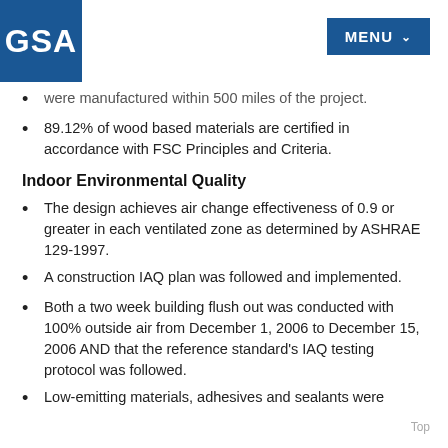GSA | MENU
were manufactured within 500 miles of the project.
89.12% of wood based materials are certified in accordance with FSC Principles and Criteria.
Indoor Environmental Quality
The design achieves air change effectiveness of 0.9 or greater in each ventilated zone as determined by ASHRAE 129-1997.
A construction IAQ plan was followed and implemented.
Both a two week building flush out was conducted with 100% outside air from December 1, 2006 to December 15, 2006 AND that the reference standard's IAQ testing protocol was followed.
Low-emitting materials, adhesives and sealants were